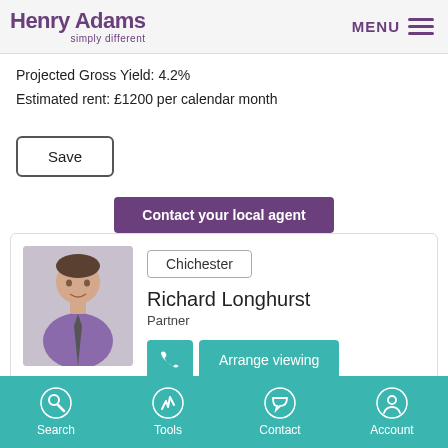Henry Adams simply different
Projected Gross Yield: 4.2%
Estimated rent: £1200 per calendar month
Save
Contact your local agent
Chichester
Richard Longhurst
Partner
Arrange viewing
Search  Tools  Contact  Account